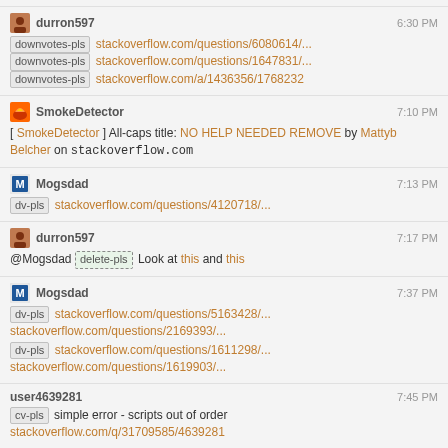durron597 6:30 PM
downvotes-pls stackoverflow.com/questions/6080614/...
downvotes-pls stackoverflow.com/questions/1647831/...
downvotes-pls stackoverflow.com/a/1436356/1768232
SmokeDetector 7:10 PM
[ SmokeDetector ] All-caps title: NO HELP NEEDED REMOVE by Mattyb Belcher on stackoverflow.com
Mogsdad 7:13 PM
dv-pls stackoverflow.com/questions/4120718/...
durron597 7:17 PM
@Mogsdad delete-pls Look at this and this
Mogsdad 7:37 PM
dv-pls stackoverflow.com/questions/5163428/...
stackoverflow.com/questions/2169393/...
dv-pls stackoverflow.com/questions/1611298/...
stackoverflow.com/questions/1619903/...
user4639281 7:45 PM
cv-pls simple error - scripts out of order stackoverflow.com/q/31709585/4639281
Undo 7:46 PM
@SmokeDetector why
SmokeDetector 7:48 PM (partial)